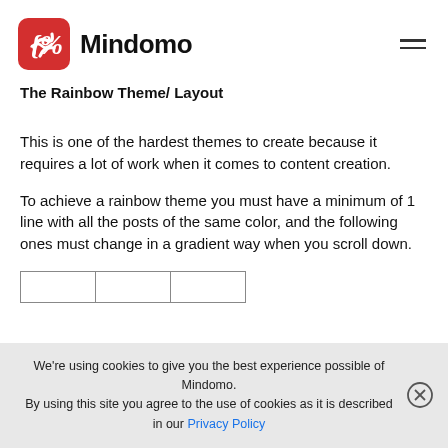Mindomo
The Rainbow Theme/ Layout
This is one of the hardest themes to create because it requires a lot of work when it comes to content creation.
To achieve a rainbow theme you must have a minimum of 1 line with all the posts of the same color, and the following ones must change in a gradient way when you scroll down.
|  |  |  |
We're using cookies to give you the best experience possible of Mindomo. By using this site you agree to the use of cookies as it is described in our Privacy Policy